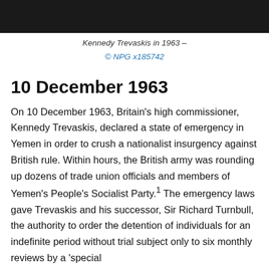[Figure (photo): Black and white photograph of Kennedy Trevaskis in 1963 (cropped, only the top portion visible as a dark bar)]
Kennedy Trevaskis in 1963 –
© NPG x185742
10 December 1963
On 10 December 1963, Britain's high commissioner, Kennedy Trevaskis, declared a state of emergency in Yemen in order to crush a nationalist insurgency against British rule. Within hours, the British army was rounding up dozens of trade union officials and members of Yemen's People's Socialist Party.¹ The emergency laws gave Trevaskis and his successor, Sir Richard Turnbull, the authority to order the detention of individuals for an indefinite period without trial subject only to six monthly reviews by a 'special